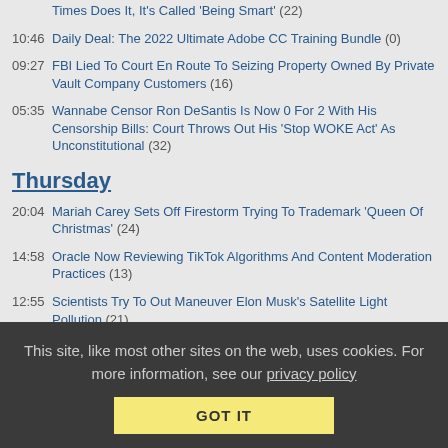Times Does It, It's Called 'Being Smart' (22)
10:46 Daily Deal: The 2022 Ultimate Adobe CC Training Bundle (0)
09:27 FBI Lied To Court En Route To Seizing Property Owned By Private Vault Company Customers (16)
05:35 Wannabe Censor Ron DeSantis Is Now 0 For 2 With His Censorship Bills: Court Throws Out His 'Stop WOKE Act' As Unconstitutional (32)
Thursday
20:04 Mariah Carey Sets Off Firestorm Trying To Trademark 'Queen Of Christmas' (24)
14:58 Oracle Now Reviewing TikTok Algorithms And Content Moderation Practices (13)
12:55 Scientists Try To Out Maneuver Elon Musk's Satellite Light Pollution (21)
10:49 Google Maps Is Misleading Users Searching For Abortion Clinics... And The GOP Is Threatening The Company If It Fixes That (129)
10:44 Daily Deal: Microsoft Office Pro for Windows 2021 + HP EliteBook + Office Courses Bundle (0)
09:54 Senator Richard Blumenthal Is Mad At Google Again; This Time Because It Can't...
This site, like most other sites on the web, uses cookies. For more information, see our privacy policy
GOT IT